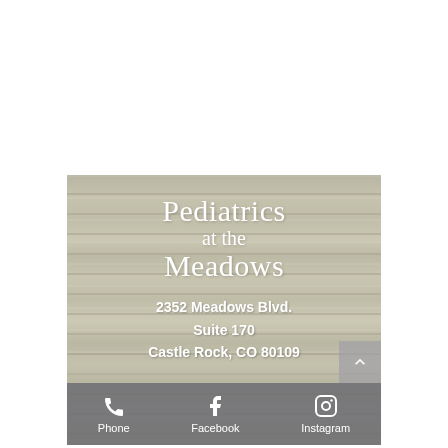[Figure (logo): Pediatrics at the Meadows business card/banner on a weathered wood plank background. Shows practice name 'Pediatrics at the Meadows', address '2352 Meadows Blvd. Suite 170, Castle Rock, CO 80109', and a bottom bar with Phone, Facebook, and Instagram icons.]
Pediatrics at the Meadows
2352 Meadows Blvd.
Suite 170
Castle Rock, CO 80109
Phone  Facebook  Instagram